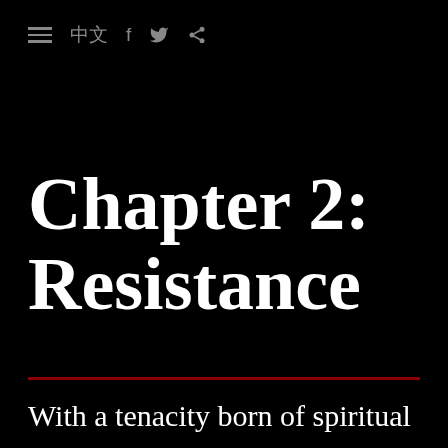≡ 中文 f 🐦 ⋲
Chapter 2: Resistance
With a tenacity born of spiritual